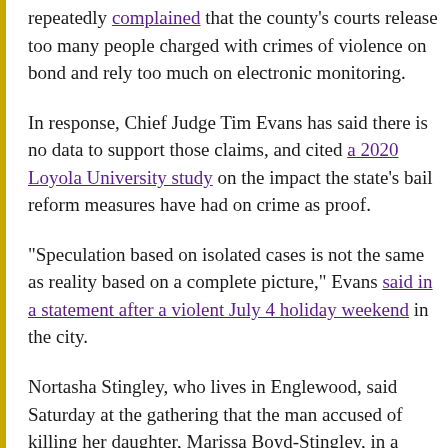repeatedly complained that the county's courts release too many people charged with crimes of violence on bond and rely too much on electronic monitoring.
In response, Chief Judge Tim Evans has said there is no data to support those claims, and cited a 2020 Loyola University study on the impact the state's bail reform measures have had on crime as proof.
“Speculation based on isolated cases is not the same as reality based on a complete picture,” Evans said in a statement after a violent July 4 holiday weekend in the city.
Nortasha Stingley, who lives in Englewood, said Saturday at the gathering that the man accused of killing her daughter, Marissa Boyd-Stingley, in a 2013 drive-by shooting was an example of someone who shouldn’t have been given a bond while he